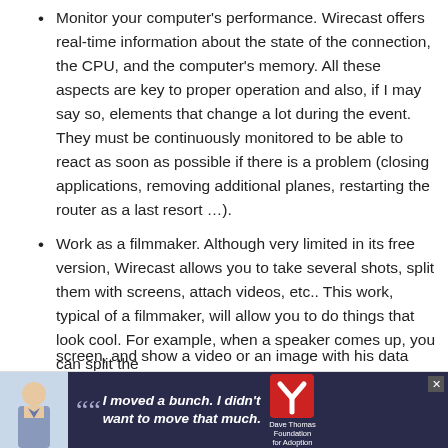Monitor your computer's performance. Wirecast offers real-time information about the state of the connection, the CPU, and the computer's memory. All these aspects are key to proper operation and also, if I may say so, elements that change a lot during the event. They must be continuously monitored to be able to react as soon as possible if there is a problem (closing applications, removing additional planes, restarting the router as a last resort …).
Work as a filmmaker. Although very limited in its free version, Wirecast allows you to take several shots, split them with screens, attach videos, etc.. This work, typical of a filmmaker, will allow you to do things that look cool. For example, when a speaker comes up, you can split the screen, and show a video or an image with his data while …
[Figure (other): Advertisement banner for Dave Thomas Foundation for Adoption featuring a young man with a quote 'I moved a bunch. I didn't want to move that much.' with a close button and logo.]